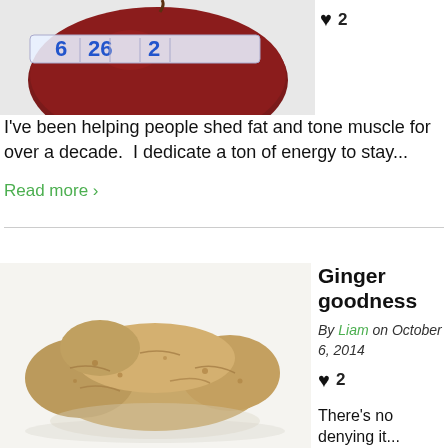[Figure (photo): Red apple with a measuring tape wrapped around it, showing numbers 26 and partial next number, on white background]
♥ 2
I've been helping people shed fat and tone muscle for over a decade.  I dedicate a ton of energy to stay...
Read more ›
[Figure (photo): A piece of fresh ginger root on a white reflective surface]
Ginger goodness
By Liam on October 6, 2014
♥ 2
There's no denying it...